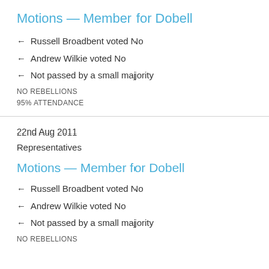Motions — Member for Dobell
← Russell Broadbent voted No
← Andrew Wilkie voted No
← Not passed by a small majority
NO REBELLIONS
95% ATTENDANCE
22nd Aug 2011
Representatives
Motions — Member for Dobell
← Russell Broadbent voted No
← Andrew Wilkie voted No
← Not passed by a small majority
NO REBELLIONS